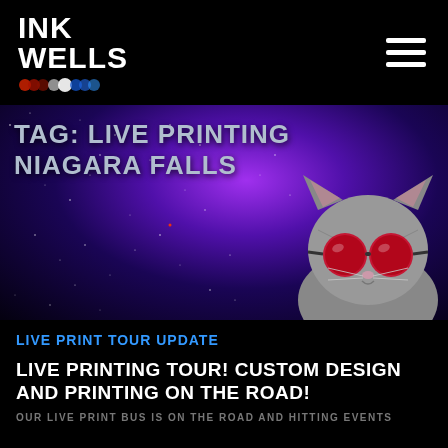INK WELLS
[Figure (illustration): Galaxy/space background banner with cat wearing sunglasses illustration on the right side. Stars and purple nebula clouds fill the background.]
TAG: LIVE PRINTING NIAGARA FALLS
LIVE PRINT TOUR UPDATE
LIVE PRINTING TOUR!  CUSTOM DESIGN AND PRINTING ON THE ROAD!
OUR LIVE PRINT BUS IS ON THE ROAD AND HITTING EVENTS